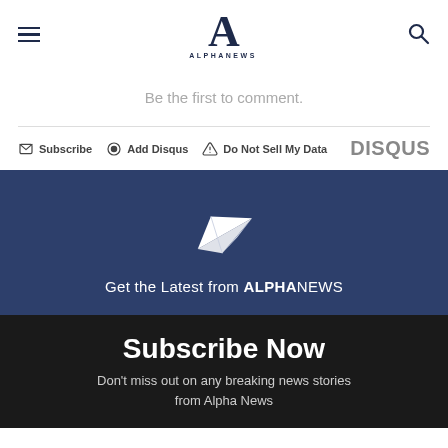[Figure (logo): Alpha News logo with large A letterform and ALPHANEWS text below, hamburger menu icon on left, search icon on right]
Be the first to comment.
Subscribe  Add Disqus  Do Not Sell My Data   DISQUS
[Figure (illustration): Dark blue banner with white paper plane icon and text 'Get the Latest from ALPHANEWS']
Subscribe Now
Don't miss out on any breaking news stories from Alpha News